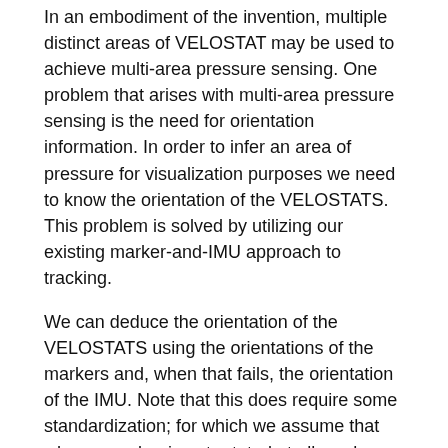In an embodiment of the invention, multiple distinct areas of VELOSTAT may be used to achieve multi-area pressure sensing. One problem that arises with multi-area pressure sensing is the need for orientation information. In order to infer an area of pressure for visualization purposes we need to know the orientation of the VELOSTATS. This problem is solved by utilizing our existing marker-and-IMU approach to tracking.
We can deduce the orientation of the VELOSTATS using the orientations of the markers and, when that fails, the orientation of the IMU. Note that this does require some standardization; for which we assume that when a marker is not rotated at all, we know the default pose of the wound. We use this default orientation to then deduce VELOSTAT locations when we are not in default orientation. For instance, in a 2×2 VELOSTAT setup, if we are rotated 90 degrees clockwise according to the markers, the top-right VELOSTAT becomes the bottom-right, the top-left becomes the top-right, etc. This kind of deduction is not necessary in setups where the VELOSTAT is orientation invariant; however, it is imaginable that some VELOSTAT setups may be orientation variant, which calls for a need for this type of deduction in order to infer the